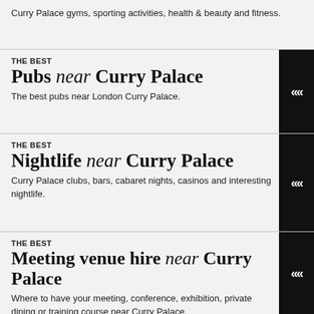Curry Palace gyms, sporting activities, health & beauty and fitness.
THE BEST
Pubs near Curry Palace
The best pubs near London Curry Palace.
THE BEST
Nightlife near Curry Palace
Curry Palace clubs, bars, cabaret nights, casinos and interesting nightlife.
THE BEST
Meeting venue hire near Curry Palace
Where to have your meeting, conference, exhibition, private dining or training course near Curry Palace.